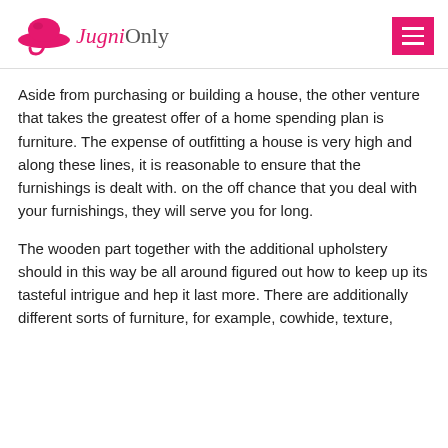Jugni Only
Aside from purchasing or building a house, the other venture that takes the greatest offer of a home spending plan is furniture. The expense of outfitting a house is very high and along these lines, it is reasonable to ensure that the furnishings is dealt with. on the off chance that you deal with your furnishings, they will serve you for long.
The wooden part together with the additional upholstery should in this way be all around figured out how to keep up its tasteful intrigue and hep it last more. There are additionally different sorts of furniture, for example, cowhide, texture,